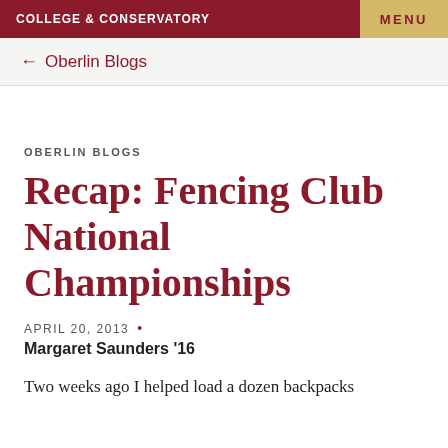COLLEGE & CONSERVATORY    MENU
← Oberlin Blogs
OBERLIN BLOGS
Recap: Fencing Club National Championships
APRIL 20, 2013 •
Margaret Saunders '16
Two weeks ago I helped load a dozen backpacks